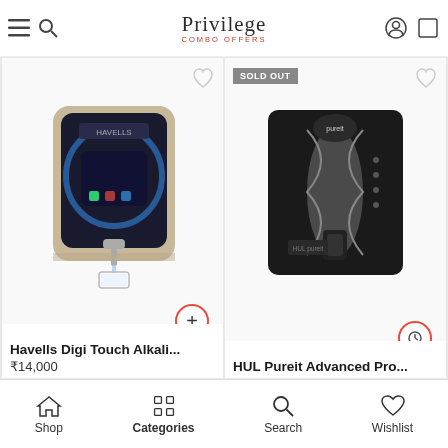Privilege COMBO OFFERS
Blue Star Excella 6 L RO
₹8,636
[Figure (photo): Havells Digi Touch Alkali water purifier product image - gold/champagne colored unit with black panel, dispensing water into a glass]
Havells Digi Touch Alkali...
₹14,000
[Figure (photo): HUL Pureit Advanced Pro water purifier product image - black and silver wall-mount unit, SOLD OUT badge visible]
HUL Pureit Advanced Pro...
Shop  Categories  Search  Wishlist